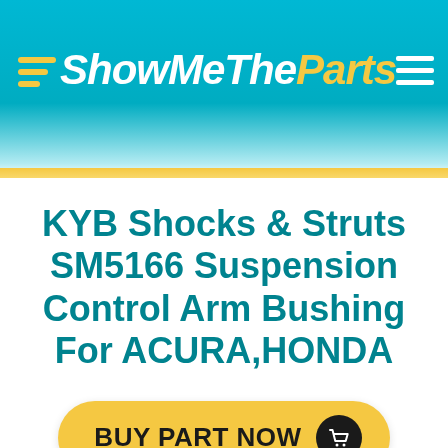[Figure (logo): ShowMeTheParts logo with yellow chevron lines and italic white/yellow text on teal gradient header background, with hamburger menu icon top right]
KYB Shocks & Struts SM5166 Suspension Control Arm Bushing For ACURA,HONDA
[Figure (other): Yellow pill-shaped BUY PART NOW button with dark circle shopping cart icon]
ShowMeTheParts has a wide selection of KYB Shocks & Struts products for a variety of years, makes, and models.